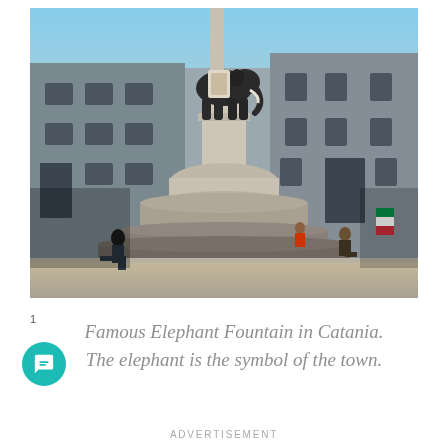[Figure (photo): Photograph of the Famous Elephant Fountain in Catania, Sicily. A large baroque fountain with a black elephant statue on top of a white marble column and base, situated in a town square. Historic stone buildings line the background. Several people are seated on the steps around the fountain base.]
Famous Elephant Fountain in Catania. The elephant is the symbol of the town.
1
ADVERTISEMENT